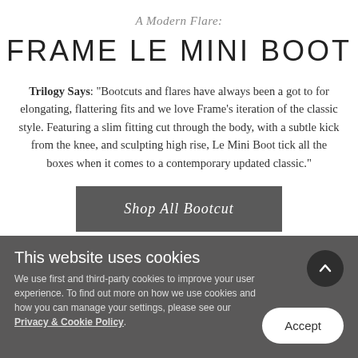A Modern Flare:
FRAME LE MINI BOOT
Trilogy Says: "Bootcuts and flares have always been a got to for elongating, flattering fits and we love Frame's iteration of the classic style. Featuring a slim fitting cut through the body, with a subtle kick from the knee, and sculpting high rise, Le Mini Boot tick all the boxes when it comes to a contemporary updated classic."
Shop All Bootcut
This website uses cookies
We use first and third-party cookies to improve your user experience. To find out more on how we use cookies and how you can manage your settings, please see our Privacy & Cookie Policy.